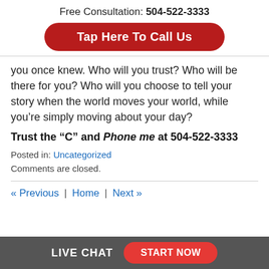Free Consultation: 504-522-3333
Tap Here To Call Us
you once knew. Who will you trust? Who will be there for you? Who will you choose to tell your story when the world moves your world, while you’re simply moving about your day?
Trust the “C” and Phone me at 504-522-3333
Posted in: Uncategorized
Comments are closed.
« Previous | Home | Next »
LIVE CHAT  START NOW